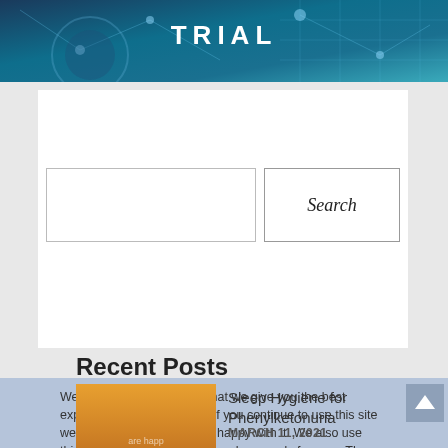[Figure (illustration): Blue/teal banner with 'TRIAL' text and network/data visualization graphics]
[Figure (screenshot): Search bar with text input field and Search button]
Recent Posts
We use cookies to ensure that we give you the best experience on our website. If you continue to use this site we will assume that you are happy with it. We also use third-party cookies to show you happy ads from us. These will display a friendly ad from us and follow you around the web
[Figure (photo): Thumbnail image of silhouetted people at sunset]
Sleep Hygiene for Phenylketonuria
MARCH 11, 2021
[Figure (photo): Thumbnail image for Phenylketonuria and Sleep article]
Phenylketonuria and Sleep